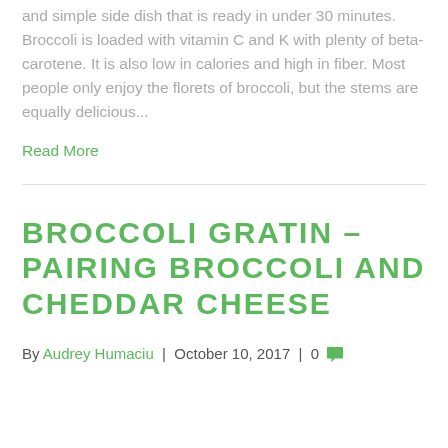and simple side dish that is ready in under 30 minutes. Broccoli is loaded with vitamin C and K with plenty of beta-carotene. It is also low in calories and high in fiber. Most people only enjoy the florets of broccoli, but the stems are equally delicious...
Read More
BROCCOLI GRATIN – PAIRING BROCCOLI AND CHEDDAR CHEESE
By Audrey Humaciu | October 10, 2017 | 0